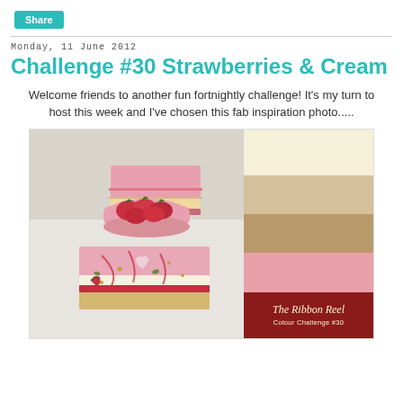Share
Monday, 11 June 2012
Challenge #30 Strawberries & Cream
Welcome friends to another fun fortnightly challenge! It's my turn to host this week and I've chosen this fab inspiration photo.....
[Figure (photo): Inspiration photo showing strawberry cream cake slices with a bowl of fresh strawberries alongside color swatches in cream, tan, gold, pink, and dark red. Branded with 'The Ribbon Reel Colour Challenge #30' in the bottom-right corner.]